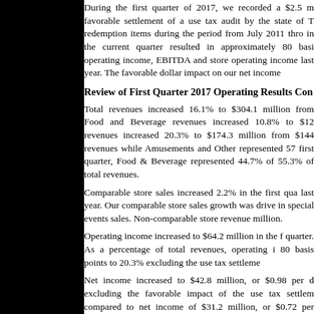During the first quarter of 2017, we recorded a $2.5 m favorable settlement of a use tax audit by the state of T redemption items during the period from July 2011 thro in the current quarter resulted in approximately 80 basi operating income, EBITDA and store operating income last year. The favorable dollar impact on our net income
Review of First Quarter 2017 Operating Results Con
Total revenues increased 16.1% to $304.1 million from Food and Beverage revenues increased 10.8% to $12 revenues increased 20.3% to $174.3 million from $144 revenues while Amusements and Other represented 57 first quarter, Food & Beverage represented 44.7% of 55.3% of total revenues.
Comparable store sales increased 2.2% in the first qua last year. Our comparable store sales growth was drive in special events sales. Non-comparable store revenue million.
Operating income increased to $64.2 million in the f quarter. As a percentage of total revenues, operating i 80 basis points to 20.3% excluding the use tax settleme
Net income increased to $42.8 million, or $0.98 per d excluding the favorable impact of the use tax settlem compared to net income of $31.2 million, or $0.72 per period last year.
EBITDA increased 22.5% to $88.2 million in the first qu EBITDA increased 19.0% excluding the use tax settlem approximately 150 basis points to 29.0% from 27.5% or